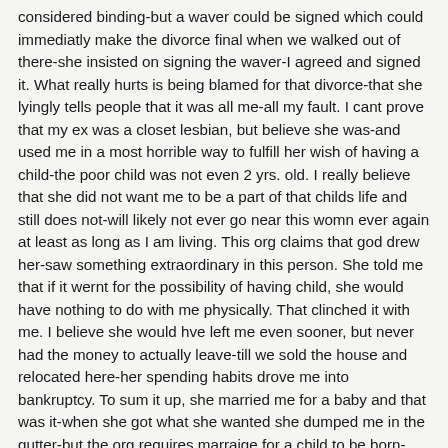considered binding-but a waver could be signed which could immediatly make the divorce final when we walked out of there-she insisted on signing the waver-I agreed and signed it. What really hurts is being blamed for that divorce-that she lyingly tells people that it was all me-all my fault. I cant prove that my ex was a closet lesbian, but believe she was-and used me in a most horrible way to fulfill her wish of having a child-the poor child was not even 2 yrs. old. I really believe that she did not want me to be a part of that childs life and still does not-will likely not ever go near this womn ever again at least as long as I am living. This org claims that god drew her-saw something extraordinary in this person. She told me that if it wernt for the possibility of having child, she would have nothing to do with me physically. That clinched it with me. I believe she would hve left me even sooner, but never had the money to actually leave-till we sold the house and relocated here-her spending habits drove me into bankruptcy. To sum it up, she married me for a baby and that was it-when she got what she wanted she dumped me in the gutter-but the org requires marraige for a child to be born-when she found out that she was pregnant, she asked me if I wanted a divorce-thought at the time she was joking. To make matters worse, she twisted the story so that I would be blamed for the breakup. Had it not been for the org. she would have left and I would have been able to move on with my life-this